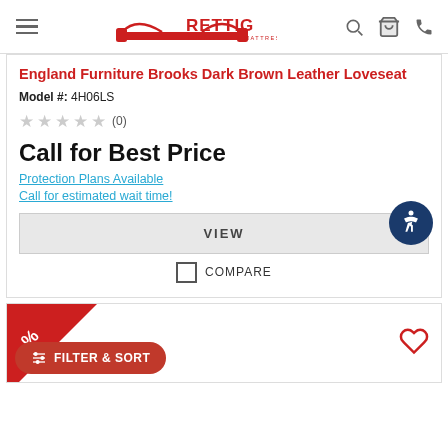Rettig Furniture & Mattress
England Furniture Brooks Dark Brown Leather Loveseat
Model #: 4H06LS
★★★★★ (0)
Call for Best Price
Protection Plans Available
Call for estimated wait time!
VIEW
COMPARE
[Figure (screenshot): Bottom of page showing a second product card with a red sale ribbon/badge in top-left corner and a FILTER & SORT button overlay]